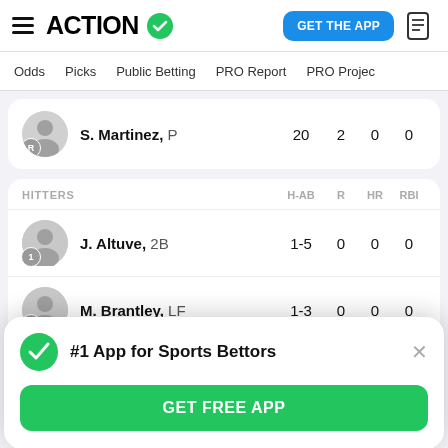ACTION (logo with checkmark) | GET THE APP | document icon
Odds | Picks | Public Betting | PRO Report | PRO Project
| Player |  | H-AB / stats | R | HR | RBI |
| --- | --- | --- | --- | --- | --- |
| S. Martinez, P |  | 20 | 2 | 0 | 0 |
| HITTERS | H-AB | R | HR | RBI |
| --- | --- | --- | --- | --- |
| J. Altuve, 2B | 1-5 | 0 | 0 | 0 |
| M. Brantley, LF | 1-3 | 0 | 0 | 0 |
#1 App for Sports Bettors
GET FREE APP